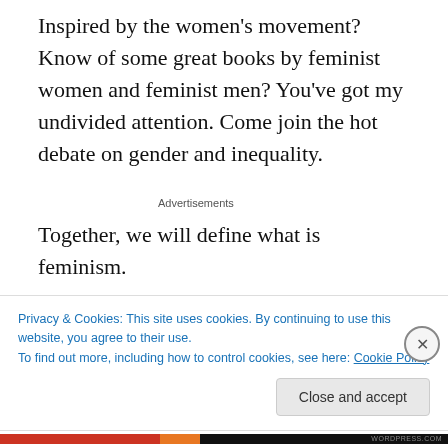Inspired by the women's movement? Know of some great books by feminist women and feminist men? You've got my undivided attention. Come join the hot debate on gender and inequality.
Advertisements
Together, we will define what is feminism.
As a woman living in what James Brown called 'a man's
Privacy & Cookies: This site uses cookies. By continuing to use this website, you agree to their use.
To find out more, including how to control cookies, see here: Cookie Policy
Close and accept